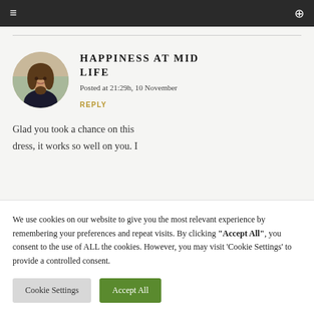≡  🔍
[Figure (photo): Circular avatar photo of a woman with long brown hair wearing a dark top, standing outdoors on a street]
HAPPINESS AT MID LIFE
Posted at 21:29h, 10 November
REPLY
Glad you took a chance on this dress, it works so well on you. I
We use cookies on our website to give you the most relevant experience by remembering your preferences and repeat visits. By clicking "Accept All", you consent to the use of ALL the cookies. However, you may visit 'Cookie Settings' to provide a controlled consent.
Cookie Settings   Accept All